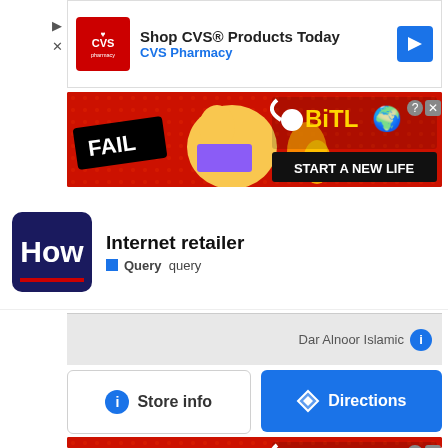[Figure (screenshot): CVS Pharmacy advertisement banner: 'Shop CVS® Products Today' with CVS Pharmacy logo and blue navigation arrow]
[Figure (screenshot): BitLife game advertisement banner showing 'FAIL' text with cartoon character and 'START A NEW LIFE' on dark background]
Internet retailer
Query  query
Dar Alnoor Islamic
Store info
Directions
[Figure (screenshot): Second BitLife game advertisement banner (partial) at bottom of page]